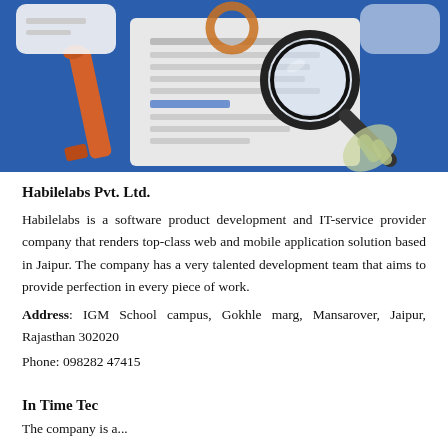[Figure (illustration): Illustration showing a magnifying glass over a document with text lines highlighted, an orange marker pen, on a blue background. A hand holds the magnifying glass.]
Habilelabs Pvt. Ltd.
Habilelabs is a software product development and IT-service provider company that renders top-class web and mobile application solution based in Jaipur. The company has a very talented development team that aims to provide perfection in every piece of work.
Address: IGM School campus, Gokhle marg, Mansarover, Jaipur, Rajasthan 302020
Phone: 098282 47415
In Time Tec
The company is a...